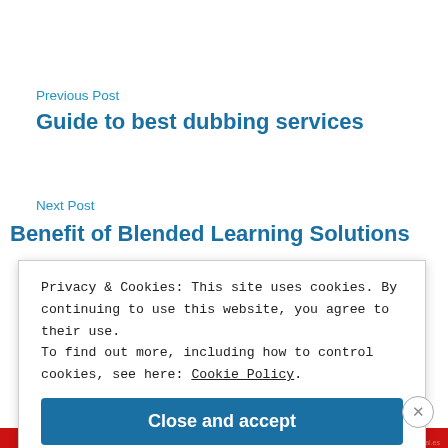Previous Post
Guide to best dubbing services
Next Post
Benefit of Blended Learning Solutions
Privacy & Cookies: This site uses cookies. By continuing to use this website, you agree to their use.
To find out more, including how to control cookies, see here: Cookie Policy
Close and accept